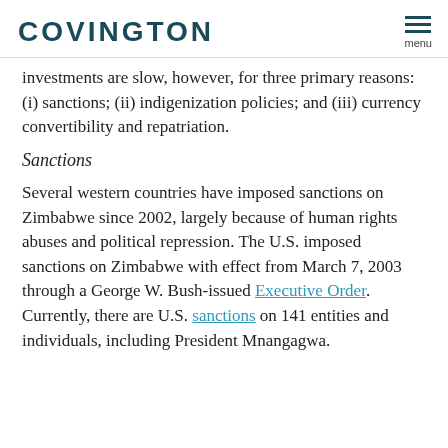COVINGTON
investments are slow, however, for three primary reasons: (i) sanctions; (ii) indigenization policies; and (iii) currency convertibility and repatriation.
Sanctions
Several western countries have imposed sanctions on Zimbabwe since 2002, largely because of human rights abuses and political repression. The U.S. imposed sanctions on Zimbabwe with effect from March 7, 2003 through a George W. Bush-issued Executive Order. Currently, there are U.S. sanctions on 141 entities and individuals, including President Mnangagwa.